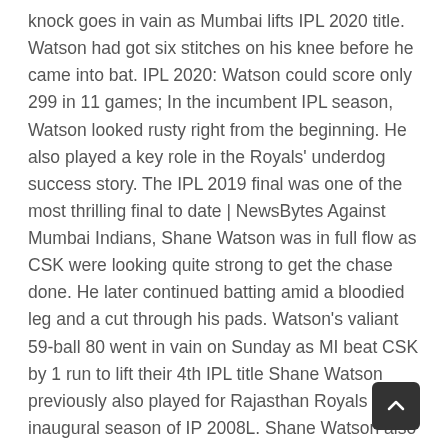knock goes in vain as Mumbai lifts IPL 2020 title. Watson had got six stitches on his knee before he came into bat. IPL 2020: Watson could score only 299 in 11 games; In the incumbent IPL season, Watson looked rusty right from the beginning. He also played a key role in the Royals' underdog success story. The IPL 2019 final was one of the most thrilling final to date | NewsBytes Against Mumbai Indians, Shane Watson was in full flow as CSK were looking quite strong to get the chase done. He later continued batting amid a bloodied leg and a cut through his pads. Watson's valiant 59-ball 80 went in vain on Sunday as MI beat CSK by 1 run to lift their 4th IPL title Shane Watson previously also played for Rajasthan Royals in the inaugural season of IP 2008L. Shane Watson also scored a stroke-filled century in the 2018 IPL final. IPL 2019. CSK opener Shane Watson came up with a valiant effort, scoring 80 from just 59 balls . The 2019 Indian Premier League Final was a Twenty20 cricket match played between Chennai Super Kings and the Mumbai Indians on 12 May 2019 at the Rajiv Gandhi International Cricket Stadium in Hyderabad.It was the culmination of the 2019 season of the Indian Premier League (IPL), an annual Twenty20